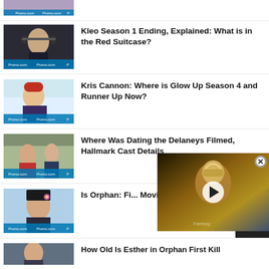[Figure (screenshot): Partial top thumbnail - cropped article image]
[Figure (photo): Person adjusting headphones - Kleo Season 1 thumbnail with Promo.com watermark]
Kleo Season 1 Ending, Explained: What is in the Red Suitcase?
[Figure (photo): Person with red/orange hair - Kris Cannon Glow Up Season 4 thumbnail with Promo.com watermark]
Kris Cannon: Where is Glow Up Season 4 and Runner Up Now?
[Figure (photo): Man and woman scene - Dating the Delaneys Hallmark thumbnail with Promo.com watermark]
Where Was Dating the Delaneys Filmed, Hallmark Cast Details
[Figure (screenshot): Video popup overlay showing fantasy armored character with play button and close button]
[Figure (photo): Young girl with flower in hair - Is Orphan: First Kill thumbnail with Promo.com watermark]
Is Orphan: Fi... Movie Based...
[Figure (screenshot): Scroll to top button - dark background with upward arrow]
[Figure (photo): Partial bottom thumbnail for How Old Is Esther in Orphan First Kill article]
How Old Is Esther in Orphan First Kill